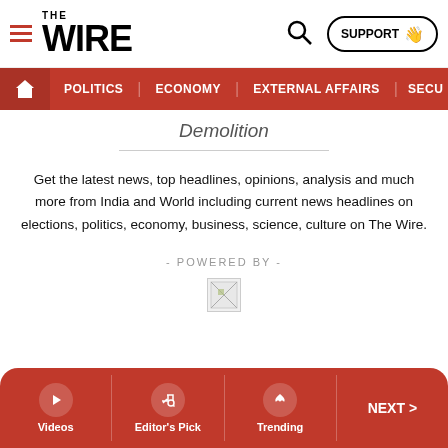THE WIRE — SUPPORT — POLITICS — ECONOMY — EXTERNAL AFFAIRS — SECU...
Demolition
Get the latest news, top headlines, opinions, analysis and much more from India and World including current news headlines on elections, politics, economy, business, science, culture on The Wire.
- POWERED BY -
[Figure (other): Broken/missing image placeholder]
Videos | Editor's Pick | Trending | NEXT >